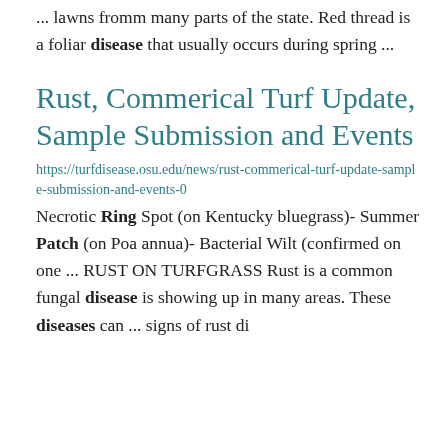... lawns fromm many parts of the state. Red thread is a foliar disease that usually occurs during spring ...
Rust, Commerical Turf Update, Sample Submission and Events
https://turfdisease.osu.edu/news/rust-commerical-turf-update-sample-submission-and-events-0
Necrotic Ring Spot (on Kentucky bluegrass)- Summer Patch (on Poa annua)- Bacterial Wilt (confirmed on one ... RUST ON TURFGRASS Rust is a common fungal disease is showing up in many areas. These diseases can ... signs of rust di...